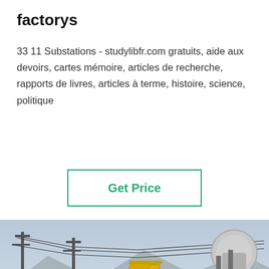factorys
33 11 Substations - studylibfr.com gratuits, aide aux devoirs, cartes mémoire, articles de recherche, rapports de livres, articles à terme, histoire, science, politique
[Figure (other): Button with green border reading 'Get Price']
[Figure (photo): Photo of an electrical substation with a yellow Isuzu utility truck, power lines, transformers, and electrical equipment. Bottom overlay shows a chat bar with 'Leave Message' on the left, a customer service avatar in the center, and 'Chat Online' on the right.]